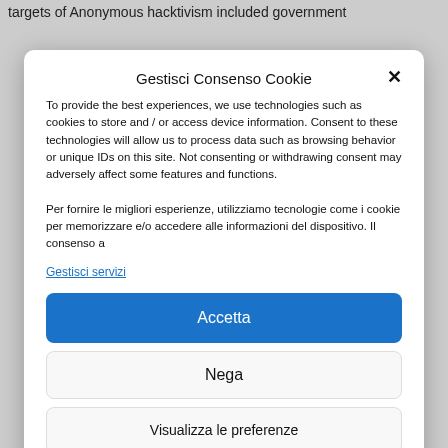targets of Anonymous hacktivism included government
Gestisci Consenso Cookie
To provide the best experiences, we use technologies such as cookies to store and / or access device information. Consent to these technologies will allow us to process data such as browsing behavior or unique IDs on this site. Not consenting or withdrawing consent may adversely affect some features and functions.

Per fornire le migliori esperienze, utilizziamo tecnologie come i cookie per memorizzare e/o accedere alle informazioni del dispositivo. Il consenso a
Gestisci servizi
Accetta
Nega
Visualizza le preferenze
Cookie Policy